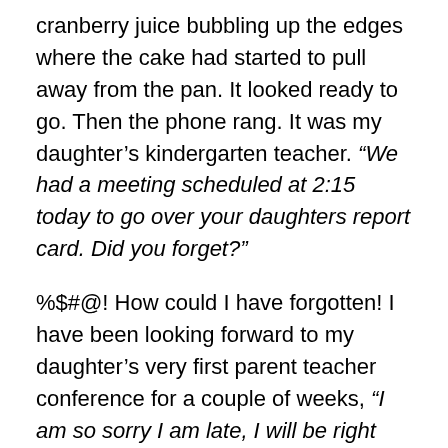cranberry juice bubbling up the edges where the cake had started to pull away from the pan.  It looked ready to go.  Then the phone rang.  It was my daughter's kindergarten teacher.  "We had a meeting scheduled at 2:15 today to go over your daughters report card.  Did you forget?"
%$#@!  How could I have forgotten!  I have been looking forward to my daughter's very first parent teacher conference for a couple of weeks, "I am so sorry I am late, I will be right there."
I pulled the cake out of the oven, set it on the stove to cool and rushed out the door without a glance back.